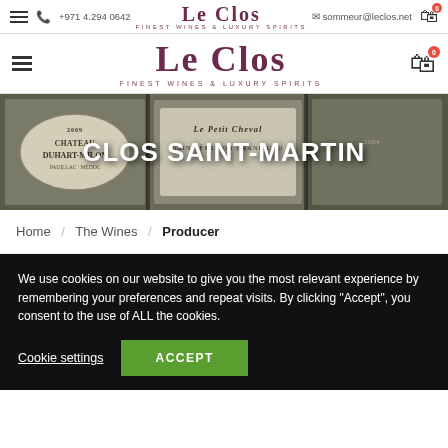Le Clos — Finest Wines & Luxury Spirits — +971 4.294 0642 — sommeur@leclos.net
[Figure (logo): Le Clos logo — FINEST WINES & LUXURY SPIRITS (main header, larger version)]
[Figure (photo): Hero banner showing wine crates — Chateau Duhart-Milon 2009, Le Petit Cheval Saint-Emilion Grand Cru, with overlay text CLOS SAINT-MARTIN]
CLOS SAINT-MARTIN
Home / The Wines / Producer
We use cookies on our website to give you the most relevant experience by remembering your preferences and repeat visits. By clicking “Accept”, you consent to the use of ALL the cookies.
Cookie settings   ACCEPT